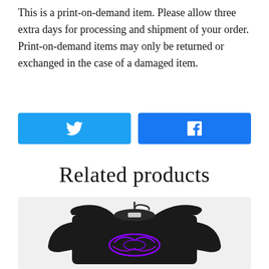This is a print-on-demand item. Please allow three extra days for processing and shipment of your order. Print-on-demand items may only be returned or exchanged in the case of a damaged item.
[Figure (other): Two social share buttons: a Twitter (bird icon) button in sky blue and a Facebook (f icon) button in Facebook blue, side by side.]
Related products
[Figure (photo): A black hoodie sweatshirt on a hanger with a purple graphic design on the front, photographed on a white background.]